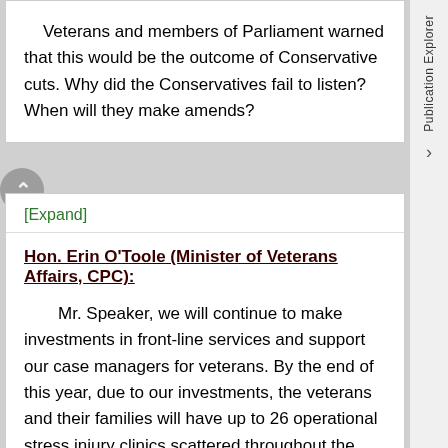Veterans and members of Parliament warned that this would be the outcome of Conservative cuts. Why did the Conservatives fail to listen? When will they make amends?
[Expand]
Hon. Erin O'Toole (Minister of Veterans Affairs, CPC):
Mr. Speaker, we will continue to make investments in front-line services and support our case managers for veterans. By the end of this year, due to our investments, the veterans and their families will have up to 26 operational stress injury clinics scattered throughout the country.